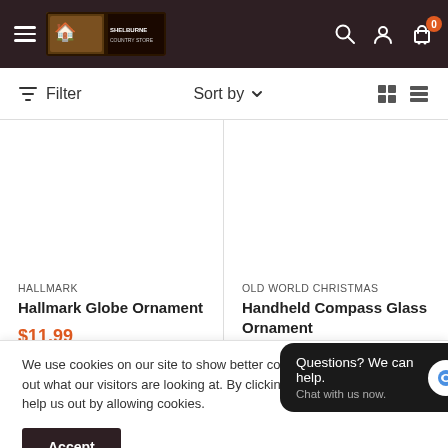Shelburne Country Store — navigation header with hamburger menu, logo, search, account, and cart icons
Filter   Sort by ▾
HALLMARK
Hallmark Globe Ornament
$11.99
OLD WORLD CHRISTMAS
Handheld Compass Glass Ornament
We use cookies on our site to show better content and help us figure out what our visitors are looking at. By clicking Accept you agree to help us out by allowing cookies.
Accept
Questions? We can help.
Chat with us now.
Sold out   Sold out